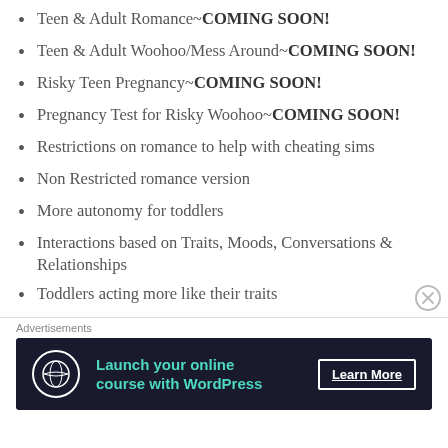Teen & Adult Romance~COMING SOON!
Teen & Adult Woohoo/Mess Around~COMING SOON!
Risky Teen Pregnancy~COMING SOON!
Pregnancy Test for Risky Woohoo~COMING SOON!
Restrictions on romance to help with cheating sims
Non Restricted romance version
More autonomy for toddlers
Interactions based on Traits, Moods, Conversations & Relationships
Toddlers acting more like their traits
Global settings for gender preference
Woohoo locations help determine chances of…
Advertisements
[Figure (infographic): Advertisement banner: Launch your online course with WordPress — Learn More button]